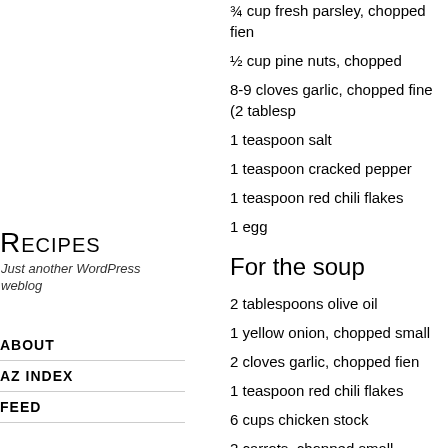¾ cup fresh parsley, chopped fien
½ cup pine nuts, chopped
8-9 cloves garlic, chopped fine (2 tablesp
1 teaspoon salt
1 teaspoon cracked pepper
1 teaspoon red chili flakes
1 egg
For the soup
2 tablespoons olive oil
1 yellow onion, chopped small
2 cloves garlic, chopped fien
1 teaspoon red chili flakes
6 cups chicken stock
2 carrots, chopped small
2 celery ribs, chopped small
1 fennel head, chopped small
Parmesan rind
1 cup Ditalini pasta, or other small-shape
3 cups baby spinach
Recipes
Just another WordPress weblog
ABOUT
AZ INDEX
FEED